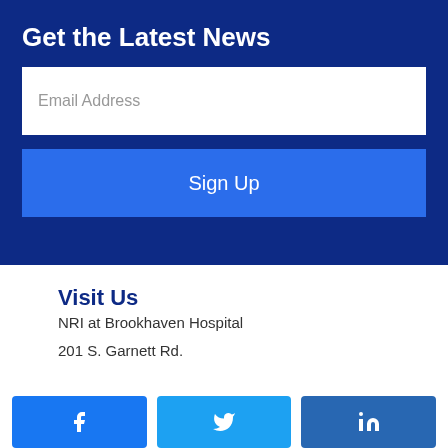Get the Latest News
Email Address
Sign Up
Visit Us
NRI at Brookhaven Hospital
201 S. Garnett Rd.
[Figure (other): Social media buttons: Facebook, Twitter, LinkedIn]